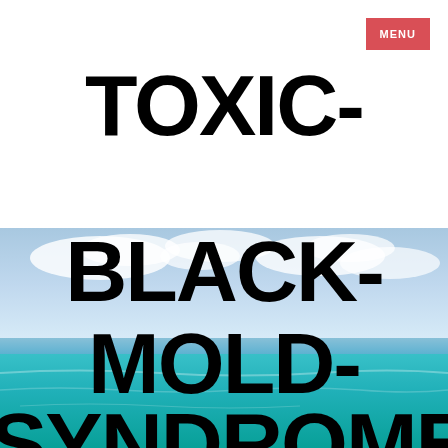MENU
TOXIC-BLACK-MOLD-SYNDROME
[Figure (photo): Ocean/beach scene with turquoise sea water, horizon line, and partly cloudy blue sky serving as background behind overlaid title text]